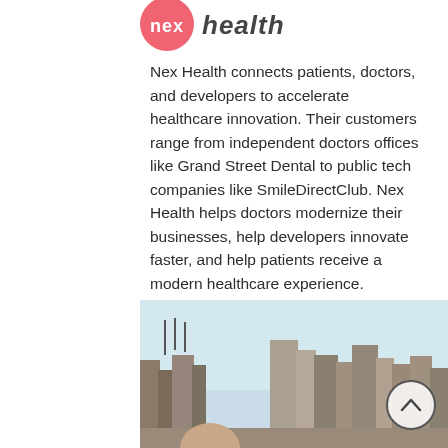[Figure (logo): Nex Health logo: pink circle with 'nex' text in pink and 'health' in dark italic letters]
Nex Health connects patients, doctors, and developers to accelerate healthcare innovation. Their customers range from independent doctors offices like Grand Street Dental to public tech companies like SmileDirectClub. Nex Health helps doctors modernize their businesses, help developers innovate faster, and help patients receive a modern healthcare experience.
[Figure (photo): Photo of a person in a city setting with a skyline visible in the background, with urban buildings and communications towers]